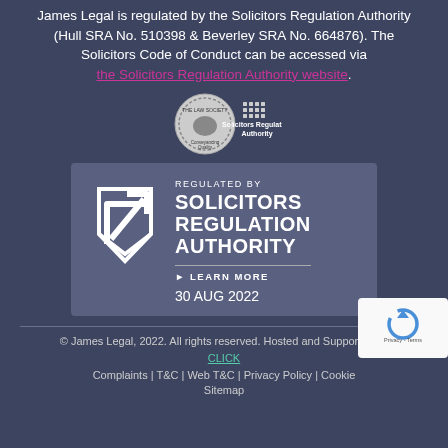James Legal is regulated by the Solicitors Regulation Authority (Hull SRA No. 510398 & Beverley SRA No. 664876). The Solicitors Code of Conduct can be accessed via the Solicitors Regulation Authority website.
[Figure (logo): Conveyancing Quality logo and Solicitors Regulation Authority logo side by side]
[Figure (infographic): Solicitors Regulation Authority regulated badge with shield/arrow icon, text 'REGULATED BY SOLICITORS REGULATION AUTHORITY', 'LEARN MORE', and date '30 AUG 2022']
© James Legal, 2022. All rights reserved. Hosted and Supported by CLICK
Complaints | T&C | Web T&C | Privacy Policy | Cookie | Sitemap